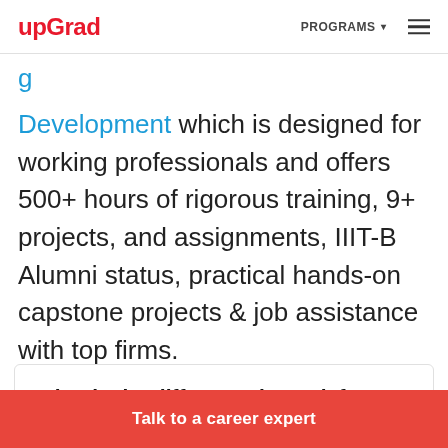upGrad | PROGRAMS
Development which is designed for working professionals and offers 500+ hours of rigorous training, 9+ projects, and assignments, IIIT-B Alumni status, practical hands-on capstone projects & job assistance with top firms.
What is the difference in work for a stack developer from other developers?
The process of developing a software stack to
Talk to a career expert